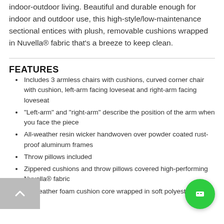indoor-outdoor living. Beautiful and durable enough for indoor and outdoor use, this high-style/low-maintenance sectional entices with plush, removable cushions wrapped in Nuvella® fabric that's a breeze to keep clean.
FEATURES
Includes 3 armless chairs with cushions, curved corner chair with cushion, left-arm facing loveseat and right-arm facing loveseat
"Left-arm" and "right-arm" describe the position of the arm when you face the piece
All-weather resin wicker handwoven over powder coated rust-proof aluminum frames
Throw pillows included
Zippered cushions and throw pillows covered high-performing Nuvella® fabric
All-weather foam cushion core wrapped in soft polyester